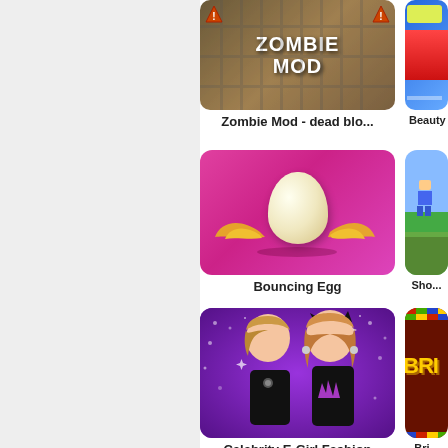[Figure (screenshot): Zombie Mod - dead blo... game thumbnail showing a zombie-themed scene with the text ZOMBIE MOD in dripping white letters]
Zombie Mod - dead blo...
[Figure (screenshot): Beauty game thumbnail (partially visible on right edge), colorful blue and red design]
Beauty
[Figure (screenshot): Bouncing Egg game thumbnail showing a white egg with golden wings on a pink/magenta background]
Bouncing Egg
[Figure (screenshot): Shooting game thumbnail (partially visible), pixel art character on blue/green background]
Sho...
[Figure (screenshot): Celebrity E-Girl Fashion game thumbnail showing two stylish anime-style girls in black outfits on purple sparkle background]
Celebrity E-Girl Fashion
[Figure (screenshot): Bri... game thumbnail (partially visible), dark brown background with yellow text]
Bri...